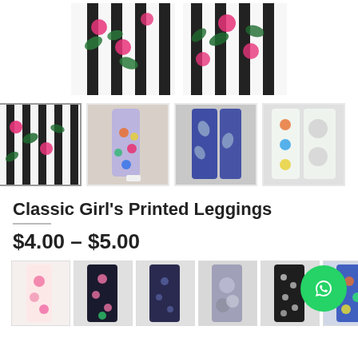[Figure (photo): Two product images of Classic Girl's Printed Leggings with black and white stripes and floral/tropical pattern]
[Figure (photo): Thumbnail strip of four leggings product photos with a next arrow]
Classic Girl's Printed Leggings
$4.00 – $5.00
[Figure (photo): Row of six variant thumbnail images of different printed leggings styles]
[Figure (illustration): WhatsApp contact button (green circle with phone icon)]